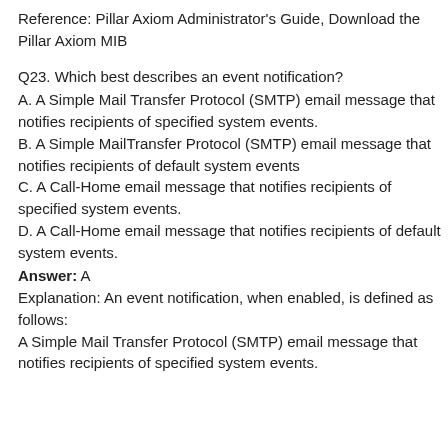Reference: Pillar Axiom Administrator's Guide, Download the Pillar Axiom MIB
Q23. Which best describes an event notification?
A. A Simple Mail Transfer Protocol (SMTP) email message that notifies recipients of specified system events.
B. A Simple MailTransfer Protocol (SMTP) email message that notifies recipients of default system events
C. A Call-Home email message that notifies recipients of specified system events.
D. A Call-Home email message that notifies recipients of default system events.
Answer: A
Explanation: An event notification, when enabled, is defined as follows:
A Simple Mail Transfer Protocol (SMTP) email message that notifies recipients of specified system events.